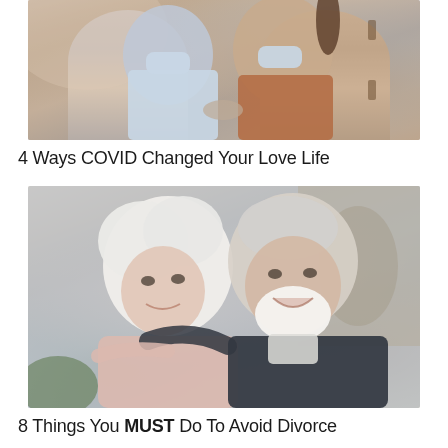[Figure (photo): Two people wearing face masks appear close together, one in a light blue shirt, one in an orange top with dark hair in a ponytail — appearing to kiss or be very close]
4 Ways COVID Changed Your Love Life
[Figure (photo): An elderly couple smiling and laughing together — a white-haired woman in a light pink top and a white-bearded man in a dark jacket — posing cheek to cheek]
8 Things You MUST Do To Avoid Divorce